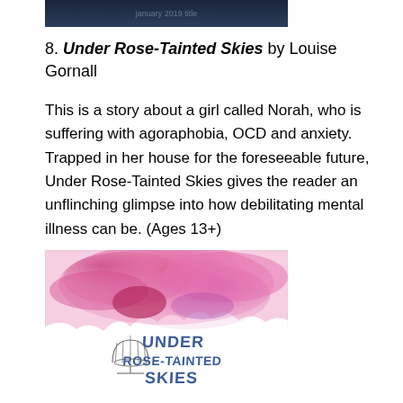[Figure (photo): Top portion of a dark book cover image, partially cropped]
8. Under Rose-Tainted Skies by Louise Gornall
This is a story about a girl called Norah, who is suffering with agoraphobia, OCD and anxiety. Trapped in her house for the foreseeable future, Under Rose-Tainted Skies gives the reader an unflinching glimpse into how debilitating mental illness can be. (Ages 13+)
[Figure (photo): Book cover of 'Under Rose-Tainted Skies' by Louise Gornall, featuring pink and red watercolor splashes at top, white lower half with blue handwritten-style text reading UNDER ROSE-TAINTED SKIES, and a decorative birdcage illustration]